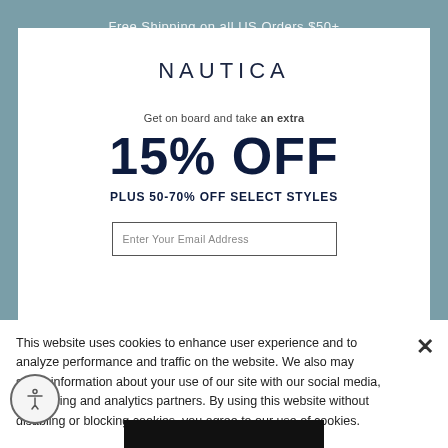Free Shipping on all US Orders $50+
NAUTICA
Get on board and take an extra
15% OFF
PLUS 50-70% OFF SELECT STYLES
Enter Your Email Address
This website uses cookies to enhance user experience and to analyze performance and traffic on the website. We also may share information about your use of our site with our social media, advertising and analytics partners. By using this website without disabling or blocking cookies, you agree to our use of cookies.